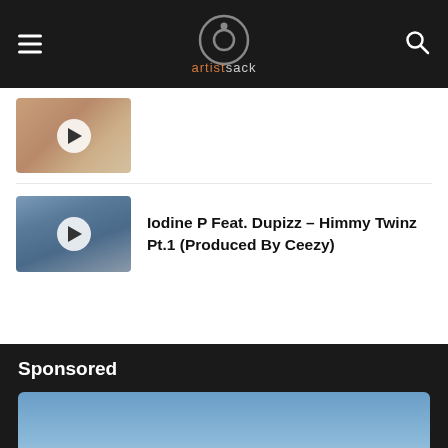artistsack
[Figure (photo): Thumbnail image with play button overlay - partial visible at top]
Iodine P Feat. Dupizz – Himmy Twinz Pt.1 (Produced By Ceezy)
Sponsored
[Figure (photo): Sponsored music video banner: CURT B - JUST US with sky background]